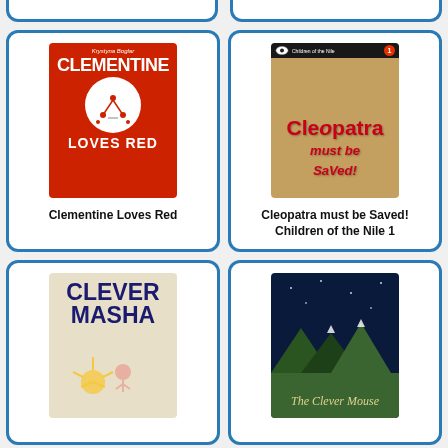[Figure (illustration): Partial top of two book cards cut off at top of page]
[Figure (illustration): Book cover: Clementine Loves Red by Krystyna Boglar, red background with white circle]
Clementine Loves Red
[Figure (illustration): Book cover: Cleopatra must be Saved! Children of the Nile 1, tan/red comic-style cover]
Cleopatra must be Saved!
Children of the Nile 1
[Figure (illustration): Book cover: Clever Masha, beige background with large blue bold title]
[Figure (illustration): Book cover: The Clever Mouse, dark night sky background with moon and mountains]